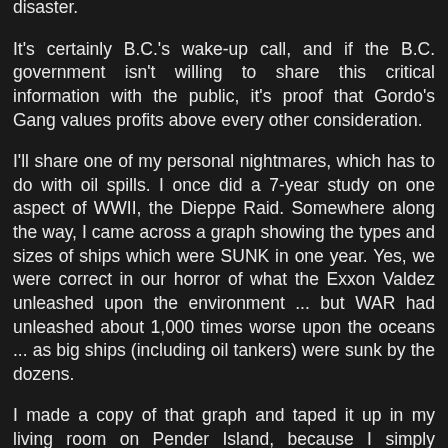disaster.
It's certainly B.C.'s wake-up call, and if the B.C. government isn't willing to share this critical information with the public, it's proof that Gordo's Gang values profits above every other consideration.
I'll share one of my personal nightmares, which has to do with oil spills. I once did a 7-year study on one aspect of WWII, the Dieppe Raid. Somewhere along the way, I came across a graph showing the types and sizes of ships which were SUNK in one year. Yes, we were correct in our horror of what the Exxon Valdez unleashed upon the environment ... but WAR had unleashed about 1,000 times worse upon the oceans ... as big ships (including oil tankers) were sunk by the dozens.
I made a copy of that graph and taped it up in my living room on Pender Island, because I simply couldn't wrap my head around the enormity of that disaster (which is also never mentioned in Ecology talks) ... neither could anybody else who saw that clear image ... and y'know what, Grant?